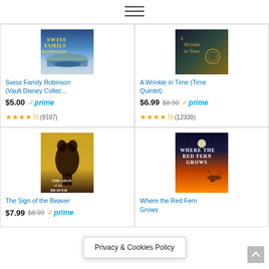[Figure (screenshot): Hamburger/menu icon (three horizontal lines) at top center]
[Figure (photo): Book cover: Swiss Family Robinson (Vault Disney Collection) - shows boat scene on water]
Swiss Family Robinson (Vault Disney Collec...
$5.00 ✓prime ★★★★½ (9197)
[Figure (photo): Book cover: A Wrinkle in Time (Time Quintet)]
A Wrinkle in Time (Time Quintet)
$6.99 $8.99 ✓prime ★★★★½ (12339)
[Figure (photo): Book cover: The Sign of the Beaver - yellow cover with bear silhouette]
The Sign of the Beaver
$7.99 $8.99 ✓prime
[Figure (photo): Book cover: Where the Red Fern Grows - dark blue/orange sunset cover]
Where the Red Fern Grows
Privacy & Cookies Policy